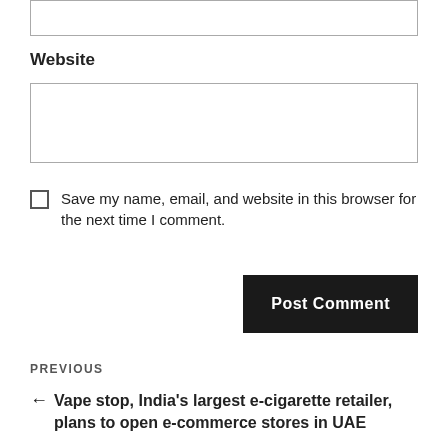[Figure (screenshot): Top portion of an input text box (partially visible at top of page)]
Website
[Figure (screenshot): Empty website input text box]
Save my name, email, and website in this browser for the next time I comment.
[Figure (screenshot): Post Comment button (dark/black background, white text)]
PREVIOUS
← Vape stop, India's largest e-cigarette retailer, plans to open e-commerce stores in UAE